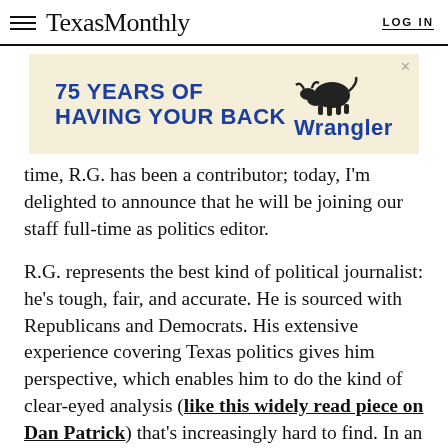Texas Monthly  LOG IN
[Figure (other): Wrangler advertisement banner: '75 YEARS OF HAVING YOUR BACK' with Wrangler logo and bull graphic on tan background]
time, R.G. has been a contributor; today, I'm delighted to announce that he will be joining our staff full-time as politics editor.
R.G. represents the best kind of political journalist: he's tough, fair, and accurate. He is sourced with Republicans and Democrats. His extensive experience covering Texas politics gives him perspective, which enables him to do the kind of clear-eyed analysis (like this widely read piece on Dan Patrick) that's increasingly hard to find. In an era of fake news, when it can be hard to tell what's reliable and what's not, we could all